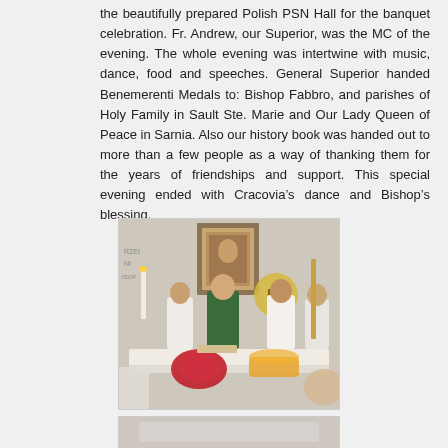the beautifully prepared Polish PSN Hall for the banquet celebration. Fr. Andrew, our Superior, was the MC of the evening. The whole evening was intertwine with music, dance, food and speeches. General Superior handed Benemerenti Medals to: Bishop Fabbro, and parishes of Holy Family in Sault Ste. Marie and Our Lady Queen of Peace in Sarnia. Also our history book was handed out to more than a few people as a way of thanking them for the years of friendships and support. This special evening ended with Cracovia’s dance and Bishop’s blessing.
[Figure (photo): Church ceremony photo showing clergy in vestments at an altar. A religious icon painting in a gold frame hangs on the wall above. A '50' anniversary emblem is visible. Several priests/clergy stand at or near the altar, one in green vestments, others in white. Red and gold decorations and flowers are on the altar.]
[Figure (photo): Partial view of another photo at the bottom of the page, showing what appears to be a light-colored background with some objects.]